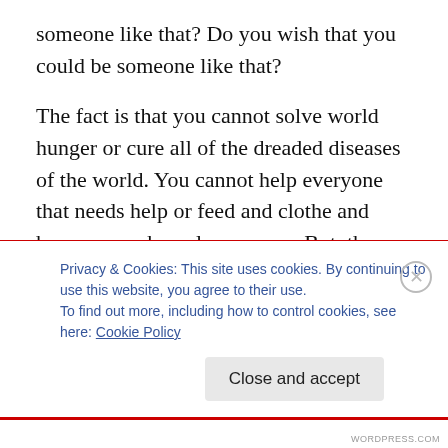someone like that? Do you wish that you could be someone like that?
The fact is that you cannot solve world hunger or cure all of the dreaded diseases of the world. You cannot help everyone that needs help or feed and clothe and house every homeless person. But, the good news is that you can help some. You can feed and clothe and find homes for some. You can make a difference for some and that will make all of the difference in your life. There is a movie just out about Mother Teresa’s work in India called “The
Privacy & Cookies: This site uses cookies. By continuing to use this website, you agree to their use.
To find out more, including how to control cookies, see here: Cookie Policy
Close and accept